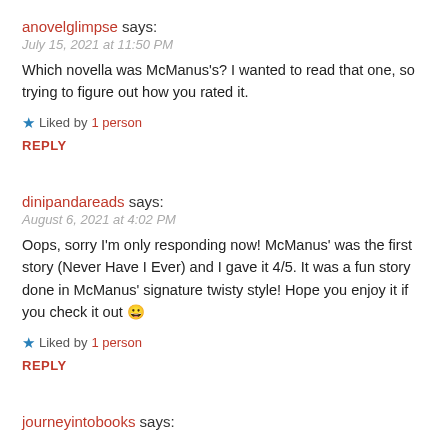anovelglimpse says:
July 15, 2021 at 11:50 PM
Which novella was McManus's? I wanted to read that one, so trying to figure out how you rated it.
★ Liked by 1 person
REPLY
dinipandareads says:
August 6, 2021 at 4:02 PM
Oops, sorry I'm only responding now! McManus' was the first story (Never Have I Ever) and I gave it 4/5. It was a fun story done in McManus' signature twisty style! Hope you enjoy it if you check it out 😀
★ Liked by 1 person
REPLY
journeyintobooks says: